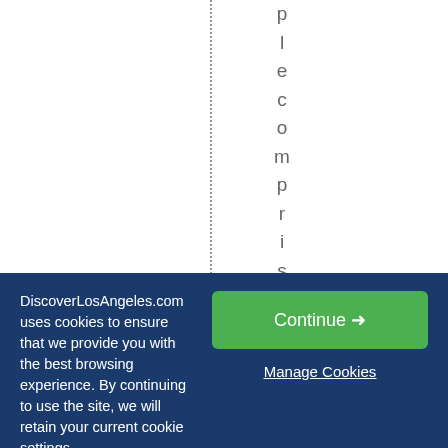[Figure (other): White area with a vertical dotted line on the left half and vertical text reading 'plecomprisedof' on the right half]
DiscoverLosAngeles.com uses cookies to ensure that we provide you with the best browsing experience. By continuing to use the site, we will retain your current cookie settings.
Continue →
Manage Cookies